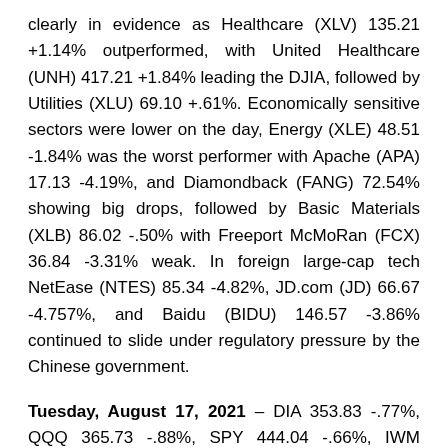clearly in evidence as Healthcare (XLV) 135.21 +1.14% outperformed, with United Healthcare (UNH) 417.21 +1.84% leading the DJIA, followed by Utilities (XLU) 69.10 +.61%. Economically sensitive sectors were lower on the day, Energy (XLE) 48.51 -1.84% was the worst performer with Apache (APA) 17.13 -4.19%, and Diamondback (FANG) 72.54% showing big drops, followed by Basic Materials (XLB) 86.02 -.50% with Freeport McMoRan (FCX) 36.84 -3.31% weak. In foreign large-cap tech NetEase (NTES) 85.34 -4.82%, JD.com (JD) 66.67 -4.757%, and Baidu (BIDU) 146.57 -3.86% continued to slide under regulatory pressure by the Chinese government.
Tuesday, August 17, 2021 – DIA 353.83 -.77%, QQQ 365.73 -.88%, SPY 444.04 -.66%, IWM 216.40 -1.22%
Broadly, the sector...